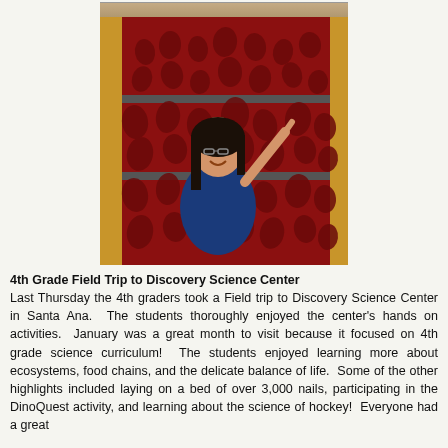[Figure (photo): A young girl in a blue shirt smiling and pointing at a large red wall covered with handprints at the Discovery Science Center. The wall has horizontal gray dividers separating rows of dark red handprints on a deep red background.]
4th Grade Field Trip to Discovery Science Center Last Thursday the 4th graders took a Field trip to Discovery Science Center in Santa Ana. The students thoroughly enjoyed the center's hands on activities. January was a great month to visit because it focused on 4th grade science curriculum! The students enjoyed learning more about ecosystems, food chains, and the delicate balance of life. Some of the other highlights included laying on a bed of over 3,000 nails, participating in the DinoQuest activity, and learning about the science of hockey! Everyone had a great